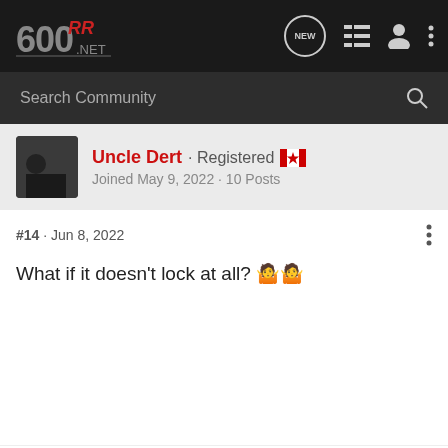RR600.net forum navigation bar with logo and icons
Search Community
Uncle Dert · Registered 🇨🇦
Joined May 9, 2022 · 10 Posts
#14 · Jun 8, 2022
What if it doesn't lock at all? 🤷
Finn_69 · Registered 🇺🇸